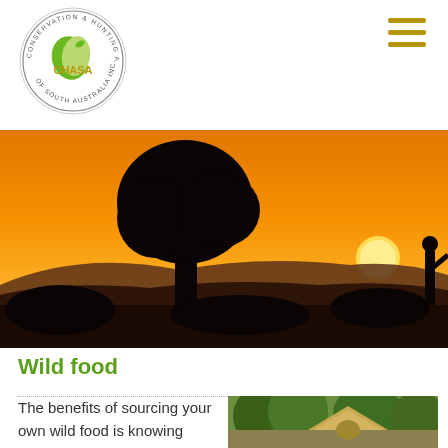[Figure (logo): CHASA - Conservation & Hunting Alliance of South Australia Inc. circular logo with green bird design]
[Figure (illustration): Three horizontal dark gold/olive hamburger menu lines icon in top right corner]
[Figure (photo): Hero banner photo: orange sunset sky with silhouette of a large tree, rolling hills, and a figure on the right side]
Wild food
The benefits of sourcing your own wild food is knowing where your food has come from and
[Figure (photo): Outdoor camping scene with a tan dome tent, green trees and bushland in the background]